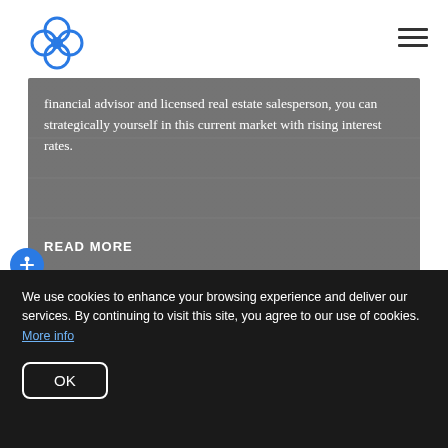[Figure (logo): Flower/clover shaped logo icon in blue outline style]
financial advisor and licensed real estate salesperson, you can strategically yourself in this current market with rising interest rates.
READ MORE
[Figure (photo): Second article image card, light gray background]
We use cookies to enhance your browsing experience and deliver our services. By continuing to visit this site, you agree to our use of cookies. More info
OK